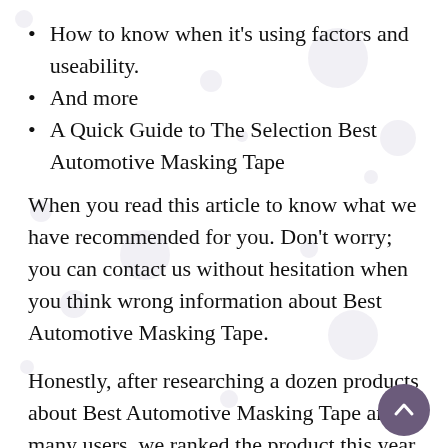How to know when it's using factors and useability.
And more
A Quick Guide to The Selection Best Automotive Masking Tape
When you read this article to know what we have recommended for you. Don't worry; you can contact us without hesitation when you think wrong information about Best Automotive Masking Tape.
Honestly, after researching a dozen products about Best Automotive Masking Tape and many users, we ranked the product this year. Because in this post, our top quality recommends selecting on the